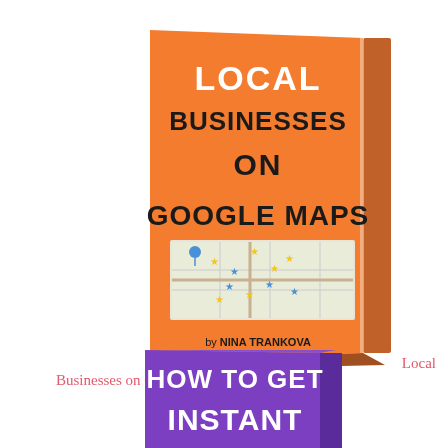[Figure (illustration): 3D book cover with orange background titled 'LOCAL BUSINESSES ON GOOGLE MAPS' by Nina Trankova, featuring a map image with star markers]
Local Businesses on Google Maps
[Figure (illustration): Partial 3D book cover with purple background titled 'HOW TO GET INSTANT' (text cut off at bottom)]